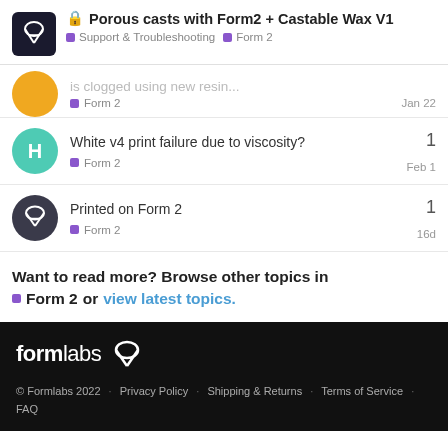Porous casts with Form2 + Castable Wax V1 — Support & Troubleshooting, Form 2
is clogged using new resin...
Form 2 — Jan 22
White v4 print failure due to viscosity?
Form 2 — Feb 1 — 1 reply
Printed on Form 2
Form 2 — 16d — 1 reply
Want to read more? Browse other topics in Form 2 or view latest topics.
formlabs © Formlabs 2022 · Privacy Policy · Shipping & Returns · Terms of Service · FAQ